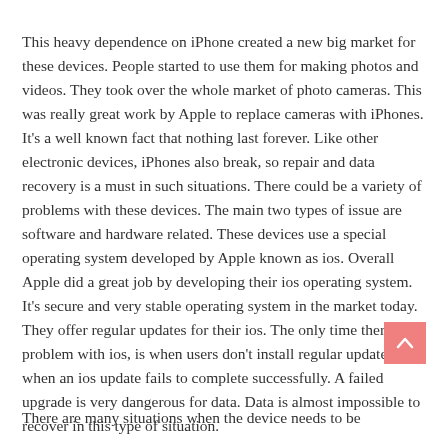This heavy dependence on iPhone created a new big market for these devices. People started to use them for making photos and videos. They took over the whole market of photo cameras. This was really great work by Apple to replace cameras with iPhones. It's a well known fact that nothing last forever. Like other electronic devices, iPhones also break, so repair and data recovery is a must in such situations. There could be a variety of problems with these devices. The main two types of issue are software and hardware related. These devices use a special operating system developed by Apple known as ios. Overall Apple did a great job by developing their ios operating system. It's secure and very stable operating system in the market today. They offer regular updates for their ios. The only time there is a problem with ios, is when users don't install regular updates or when an ios update fails to complete successfully. A failed upgrade is very dangerous for data. Data is almost impossible to recover in this type of situation.
There are many situations when the device needs to be